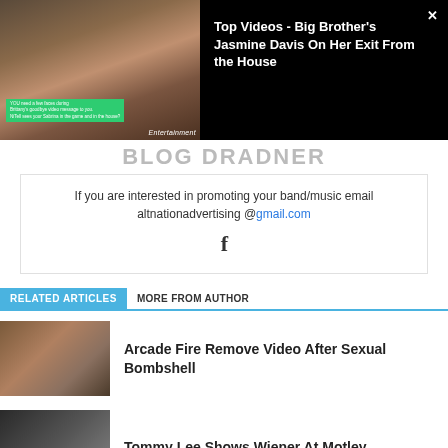[Figure (screenshot): Video overlay showing a woman in a red outfit on left thumbnail, and text 'Top Videos - Big Brother's Jasmine Davis On Her Exit From the House' on black background right side, with a close X button]
If you are interested in promoting your band/music email altnationadvertising @gmail.com
f (Facebook icon)
RELATED ARTICLES   MORE FROM AUTHOR
Arcade Fire Remove Video After Sexual Bombshell
Tommy Lee Shows Wiener At Motley